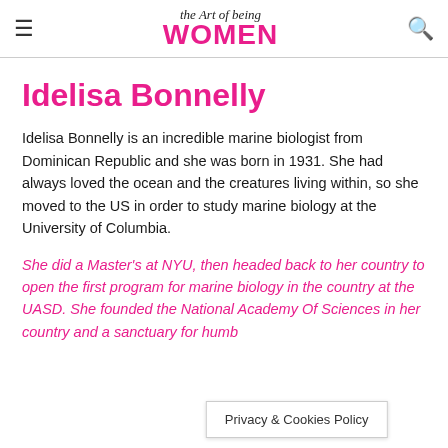The Art of Being Women
Idelisa Bonnelly
Idelisa Bonnelly is an incredible marine biologist from Dominican Republic and she was born in 1931. She had always loved the ocean and the creatures living within, so she moved to the US in order to study marine biology at the University of Columbia.
She did a Master's at NYU, then headed back to her country to open the first program for marine biology in the country at the UASD. She founded the National Academy Of Sciences in her country and a sanctuary for hump...
Privacy & Cookies Policy